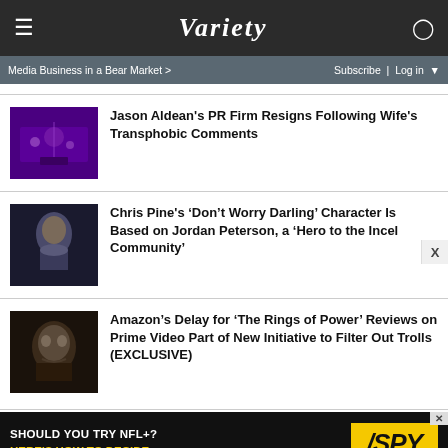VARIETY
Media Business in a Bear Market >   Subscribe | Log in
Jason Aldean's PR Firm Resigns Following Wife's Transphobic Comments
Chris Pine's ‘Don’t Worry Darling’ Character Is Based on Jordan Peterson, a ‘Hero to the Incel Community’
Amazon’s Delay for ‘The Rings of Power’ Reviews on Prime Video Part of New Initiative to Filter Out Trolls (EXCLUSIVE)
SHOULD YOU TRY NFL+? HERE'S HOW TO DECIDE — SPY